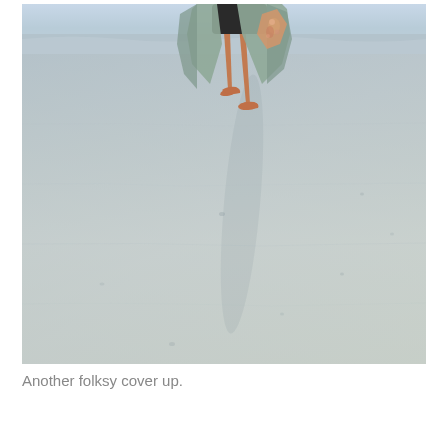[Figure (photo): A person walking barefoot on a wet sandy beach. The person is wearing dark shorts and a loose light-colored (sage/grey-green) cover-up that is blowing in the wind. They are holding something with a floral pattern. The beach is flat and reflective with wet sand and gentle waves visible in the background at the top.]
Another folksy cover up.